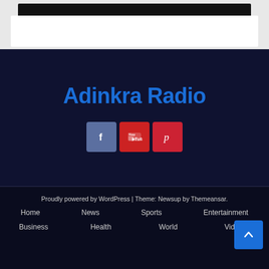[Figure (screenshot): Black video player thumbnail at top of white card on grey background]
Adinkra Radio
[Figure (other): Social media icons: Facebook (blue-grey), YouTube (red), Pinterest (red)]
Proudly powered by WordPress | Theme: Newsup by Themeansar.
Home
News
Sports
Entertainment
Business
Health
World
Videos